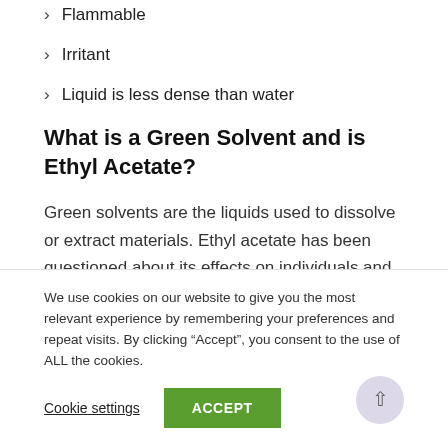Flammable
Irritant
Liquid is less dense than water
What is a Green Solvent and is Ethyl Acetate?
Green solvents are the liquids used to dissolve or extract materials. Ethyl acetate has been questioned about its effects on individuals and the environment. This substance has a lot of
We use cookies on our website to give you the most relevant experience by remembering your preferences and repeat visits. By clicking “Accept”, you consent to the use of ALL the cookies.
Cookie settings
ACCEPT